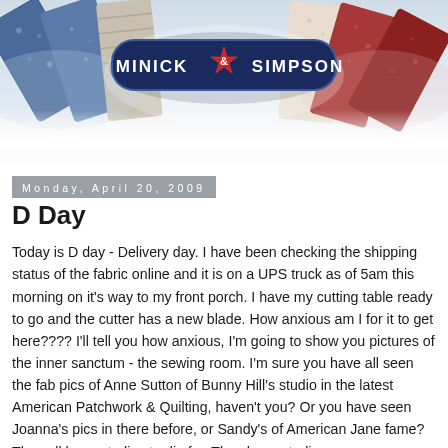[Figure (illustration): Minick & Simpson blog header banner with folded fabric bolts in blue and red patterns arranged behind a dark navy oval logo badge reading MINICK & SIMPSON with a red star ampersand.]
Monday, April 20, 2009
D Day
Today is D day - Delivery day. I have been checking the shipping status of the fabric online and it is on a UPS truck as of 5am this morning on it's way to my front porch. I have my cutting table ready to go and the cutter has a new blade. How anxious am I for it to get here???? I'll tell you how anxious, I'm going to show you pictures of the inner sanctum - the sewing room. I'm sure you have all seen the fab pics of Anne Sutton of Bunny Hill's studio in the latest American Patchwork & Quilting, haven't you? Or you have seen Joanna's pics in there before, or Sandy's of American Jane fame? They all have studios to die for. They have studios